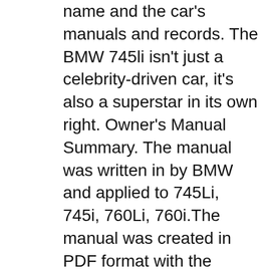name and the car's manuals and records. The BMW 745li isn't just a celebrity-driven car, it's also a superstar in its own right. Owner's Manual Summary. The manual was written in by BMW and applied to 745Li, 745i, 760Li, 760i.The manual was created in PDF format with the filename of 2005_7_series.pdf and the length of 239 pages in total. The manual were called as Owner's Manual.
View And Download 2005 BMW 745i Sedan Owners Manual. 2005 BMW 745i Sedan owners guide manual was written in English and published in PDF File (Portable Document Format). You can find helpful and important